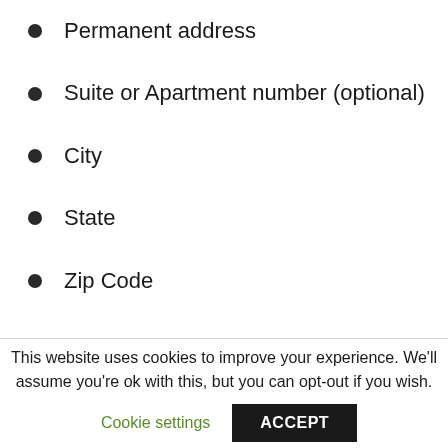Permanent address
Suite or Apartment number (optional)
City
State
Zip Code
This website uses cookies to improve your experience. We'll assume you're ok with this, but you can opt-out if you wish.
Cookie settings
ACCEPT